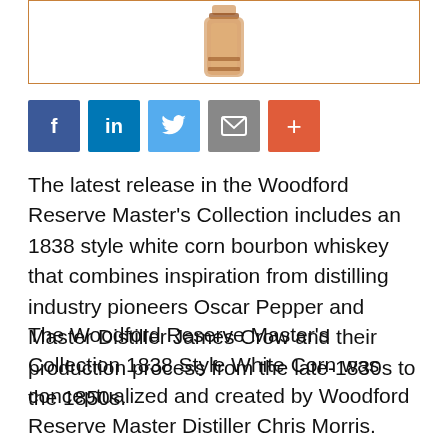[Figure (photo): Partial image of a Woodford Reserve whiskey bottle against a white background, shown from approximately the neck upward, inside an orange-bordered box.]
[Figure (infographic): Row of five social media sharing buttons: Facebook (blue, f), LinkedIn (blue, in), Twitter (light blue, bird icon), Email (gray, envelope icon), More (orange-red, plus sign).]
The latest release in the Woodford Reserve Master's Collection includes an 1838 style white corn bourbon whiskey that combines inspiration from distilling industry pioneers Oscar Pepper and Master Distiller James Crow and their production process from the late-1830s to the 1850s.
The Woodford Reserve Master's Collection 1838 Style White Corn was conceptualized and created by Woodford Reserve Master Distiller Chris Morris. Drawing from original production records, Morris was able to develop and bring to life a recipe Pepper and Crow might have used. The 1838 Style